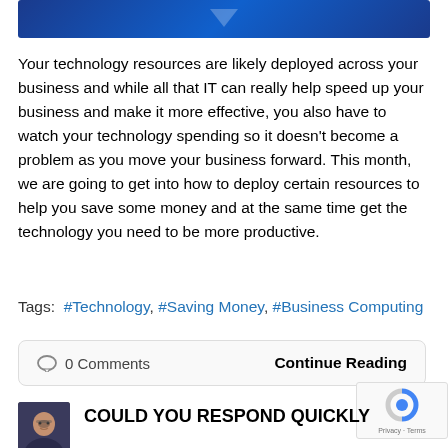[Figure (illustration): Blue gradient banner image with a downward chevron/arrow shape in the center]
Your technology resources are likely deployed across your business and while all that IT can really help speed up your business and make it more effective, you also have to watch your technology spending so it doesn't become a problem as you move your business forward. This month, we are going to get into how to deploy certain resources to help you save some money and at the same time get the technology you need to be more productive.
Tags:  #Technology, #Saving Money, #Business Computing
○ 0 Comments    Continue Reading
[Figure (photo): Small avatar photo of a man with glasses and a beard wearing a dark jacket]
COULD YOU RESPOND QUICKLY